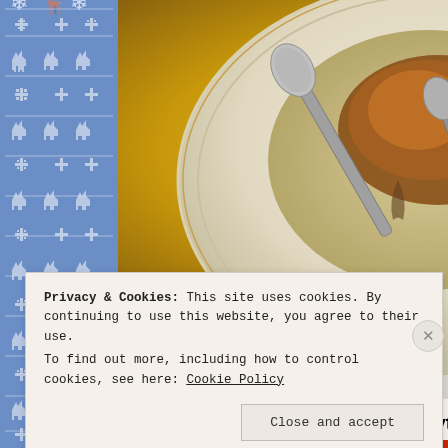[Figure (photo): Food photograph showing a plate with roasted chicken or similar dish with gravy/sauce and serving spoons on a warm golden-brown background]
Advertisements
[Figure (screenshot): Advertisement banner: 'Content Analytics Made Easy' with a green 'Get A Demo →' button and Parse.ly logo]
Privacy & Cookies: This site uses cookies. By continuing to use this website, you agree to their use.
To find out more, including how to control cookies, see here: Cookie Policy
Close and accept